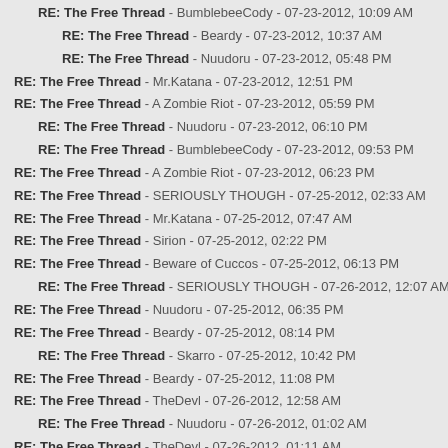RE: The Free Thread - BumblebeeCody - 07-23-2012, 10:09 AM
RE: The Free Thread - Beardy - 07-23-2012, 10:37 AM
RE: The Free Thread - Nuudoru - 07-23-2012, 05:48 PM
RE: The Free Thread - Mr.Katana - 07-23-2012, 12:51 PM
RE: The Free Thread - A Zombie Riot - 07-23-2012, 05:59 PM
RE: The Free Thread - Nuudoru - 07-23-2012, 06:10 PM
RE: The Free Thread - BumblebeeCody - 07-23-2012, 09:53 PM
RE: The Free Thread - A Zombie Riot - 07-23-2012, 06:23 PM
RE: The Free Thread - SERIOUSLY THOUGH - 07-25-2012, 02:33 AM
RE: The Free Thread - Mr.Katana - 07-25-2012, 07:47 AM
RE: The Free Thread - Sirion - 07-25-2012, 02:22 PM
RE: The Free Thread - Beware of Cuccos - 07-25-2012, 06:13 PM
RE: The Free Thread - SERIOUSLY THOUGH - 07-26-2012, 12:07 AM
RE: The Free Thread - Nuudoru - 07-25-2012, 06:35 PM
RE: The Free Thread - Beardy - 07-25-2012, 08:14 PM
RE: The Free Thread - Skarro - 07-25-2012, 10:42 PM
RE: The Free Thread - Beardy - 07-25-2012, 11:08 PM
RE: The Free Thread - TheDevl - 07-26-2012, 12:58 AM
RE: The Free Thread - Nuudoru - 07-26-2012, 01:02 AM
RE: The Free Thread - TheDevl - 07-26-2012, 01:11 AM
RE: The Free Thread - Sirion - 07-26-2012, 02:47 AM
RE: The Free Thread - TheDevl - 07-26-2012, 07:02 AM
RE: The Free Thread - Mr.Katana - 07-26-2012, 05:38 AM
RE: The Free Thread - Arjahn - 07-26-2012, 05:39 AM